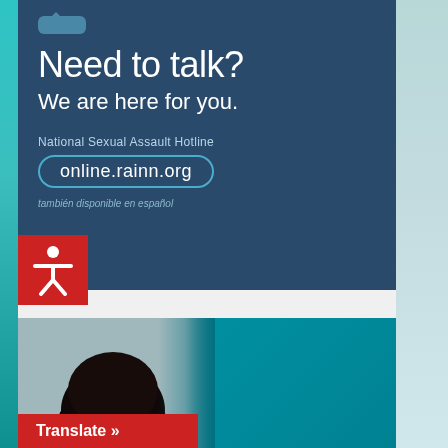[Figure (infographic): RAINN National Sexual Assault Hotline banner with dark blue background. Large white text reads 'Need to talk? We are here for you.' Below that: 'National Sexual Assault Hotline', URL 'online.rainn.org' in an oval border, and 'también disponible en español' in italic.]
[Figure (infographic): COVID-19 public health banner. Left half shows a woman wearing a face mask. Right teal half shows bold white text: 'COVID-19 IS STILL HERE' with subtitle 'TAKE STEPS TO PROTECT YOURSELF'.]
Translate »